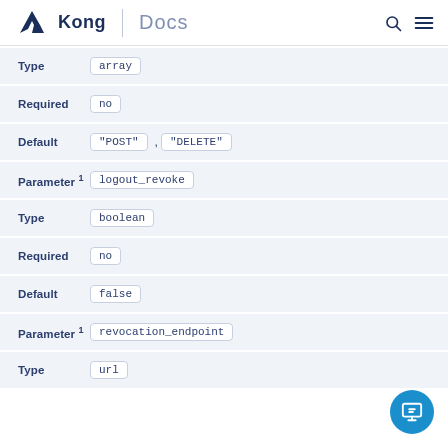Kong | Docs
| Field | Value |
| --- | --- |
| Type | array |
| Required | no |
| Default | "POST" , "DELETE" |
| Parameter ¹ | logout_revoke |
| Type | boolean |
| Required | no |
| Default | false |
| Parameter ¹ | revocation_endpoint |
| Type | url |